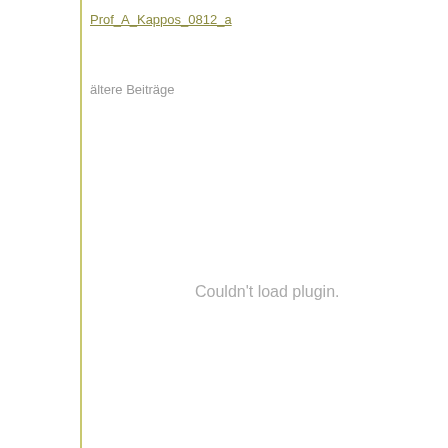Prof_A_Kappos_0812_a
ältere Beiträge
Couldn't load plugin.